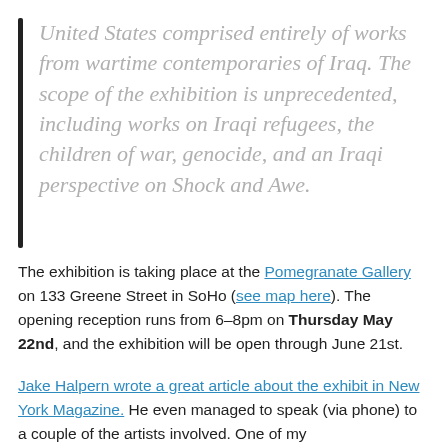United States comprised entirely of works from wartime contemporaries of Iraq. The scope of the exhibition is unprecedented, including works on Iraqi refugees, the children of war, genocide, and an Iraqi perspective on Shock and Awe.
The exhibition is taking place at the Pomegranate Gallery on 133 Greene Street in SoHo (see map here). The opening reception runs from 6–8pm on Thursday May 22nd, and the exhibition will be open through June 21st.
Jake Halpern wrote a great article about the exhibit in New York Magazine. He even managed to speak (via phone) to a couple of the artists involved. One of my